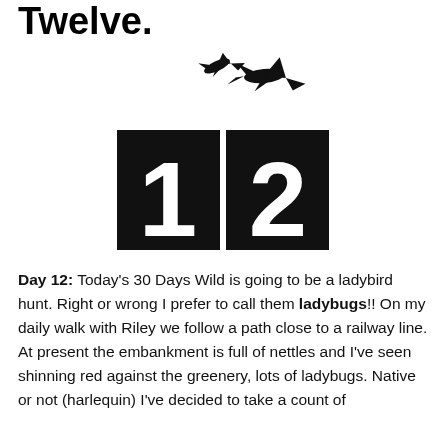Twelve.
[Figure (illustration): Black silhouette illustration of two birds in flight above two large black squares containing white numerals '1' and '2', representing the number 12.]
Day 12: Today's 30 Days Wild is going to be a ladybird hunt. Right or wrong I prefer to call them ladybugs!! On my daily walk with Riley we follow a path close to a railway line. At present the embankment is full of nettles and I've seen shinning red against the greenery, lots of ladybugs. Native or not (harlequin) I've decided to take a count of